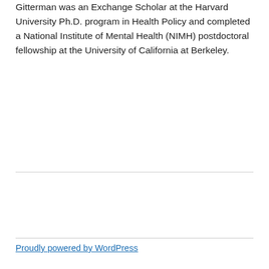Gitterman was an Exchange Scholar at the Harvard University Ph.D. program in Health Policy and completed a National Institute of Mental Health (NIMH) postdoctoral fellowship at the University of California at Berkeley.
Proudly powered by WordPress